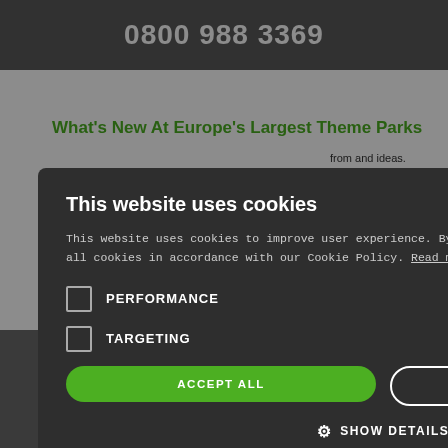0800 988 3369
What's New At Europe's Largest Theme Parks
from and ideas. Here are or.
QUICK ENQUIRY
This website uses cookies
This website uses cookies to improve user experience. By using our website you consent to all cookies in accordance with our Cookie Policy. Read more
PERFORMANCE
TARGETING
ACCEPT ALL
DECLINE ALL
SHOW DETAILS